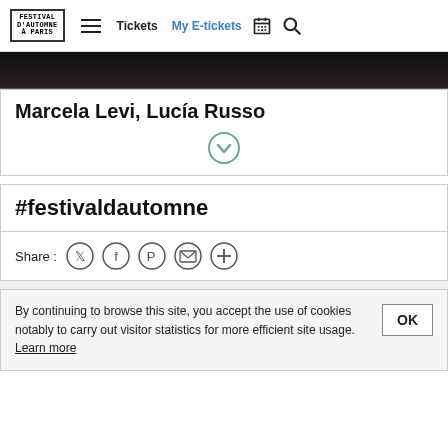Festival d'Automne à Paris — Tickets | My E-tickets
[Figure (photo): Dark hero image of a performance scene]
Marcela Levi, Lucía Russo
#festivaldautomne
Share :
By continuing to browse this site, you accept the use of cookies notably to carry out visitor statistics for more efficient site usage. Learn more